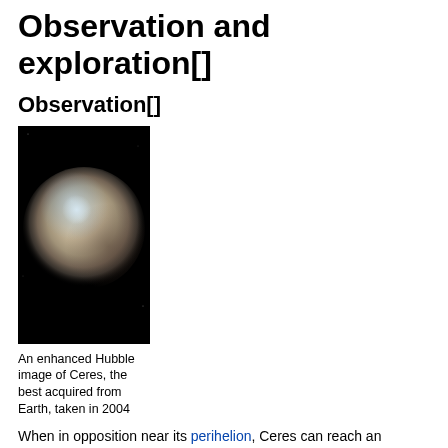Observation and exploration[]
Observation[]
[Figure (photo): An enhanced Hubble Space Telescope image of Ceres showing a round, blurry sphere with tan and blue-white coloring against a black background.]
An enhanced Hubble image of Ceres, the best acquired from Earth, taken in 2004
When in opposition near its perihelion, Ceres can reach an apparent magnitude of +6.7.[118] This is too dim to be visible to